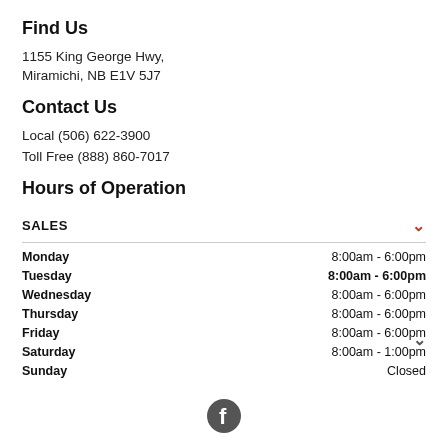Find Us
1155 King George Hwy,
Miramichi, NB E1V 5J7
Contact Us
Local (506) 622-3900
Toll Free (888) 860-7017
Hours of Operation
SALES
| Day | Hours |
| --- | --- |
| Monday | 8:00am - 6:00pm |
| Tuesday | 8:00am - 6:00pm |
| Wednesday | 8:00am - 6:00pm |
| Thursday | 8:00am - 6:00pm |
| Friday | 8:00am - 6:00pm |
| Saturday | 8:00am - 1:00pm |
| Sunday | Closed |
[Figure (photo): Chat popup with avatar photo of a man, text 'Any sales questions? Connect with us now!' and two buttons: TEXT and CHAT]
[Figure (logo): Facebook icon/logo at bottom center]